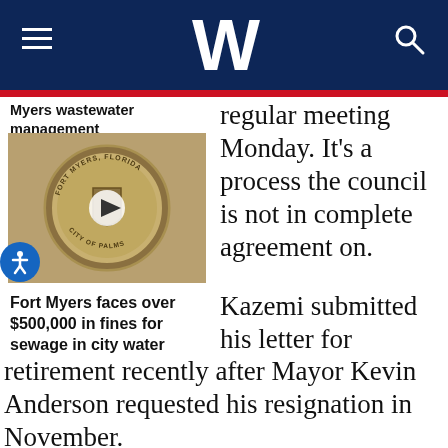W
Myers wastewater management
[Figure (photo): Fort Myers, Florida city seal medallion mounted on wall, with video play button overlay]
Fort Myers faces over $500,000 in fines for sewage in city water
regular meeting Monday. It's a process the council is not in complete agreement on.
Kazemi submitted his letter for retirement recently after Mayor Kevin Anderson requested his resignation in November.